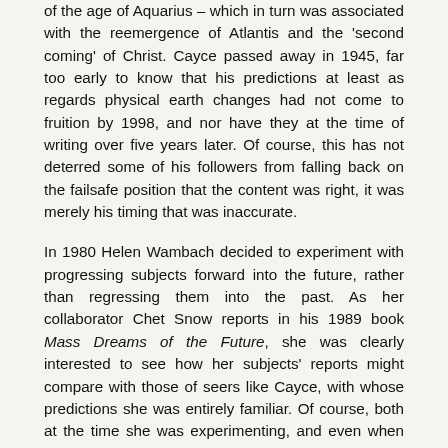of the age of Aquarius – which in turn was associated with the reemergence of Atlantis and the 'second coming' of Christ. Cayce passed away in 1945, far too early to know that his predictions at least as regards physical earth changes had not come to fruition by 1998, and nor have they at the time of writing over five years later. Of course, this has not deterred some of his followers from falling back on the failsafe position that the content was right, it was merely his timing that was inaccurate.
In 1980 Helen Wambach decided to experiment with progressing subjects forward into the future, rather than regressing them into the past. As her collaborator Chet Snow reports in his 1989 book Mass Dreams of the Future, she was clearly interested to see how her subjects' reports might compare with those of seers like Cayce, with whose predictions she was entirely familiar. Of course, both at the time she was experimenting, and even when Snow subsequently published his book, there was still plenty of time for Cayce's predictions to be proved correct. Using exactly the same hypnotic techniques she used for regression, she worked with both groups and a number of individual subjects, but there were problems with the latter. Some early results from group progressions to the year 2100 – which we will